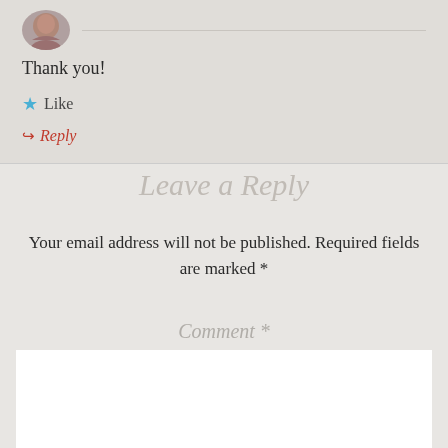[Figure (photo): Circular avatar/profile photo with reddish-brown tones at top of comment block]
Thank you!
★ Like
↪ Reply
Leave a Reply
Your email address will not be published. Required fields are marked *
Comment *